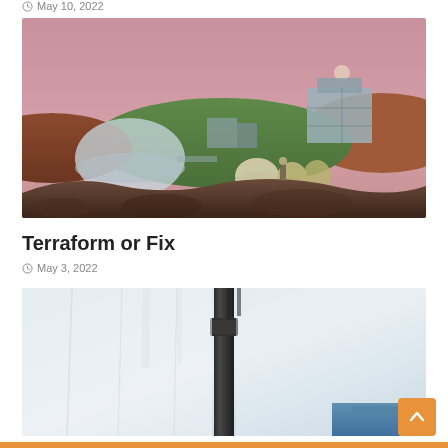May 10, 2022
[Figure (illustration): Digital illustration of a Mars-like terraformed landscape with dome habitats, industrial structures, green hills, a rover with solar panels/satellite dishes, under a pink sky with a distant sun or moon]
Terraform or Fix
May 3, 2022
[Figure (photo): Close-up photo of a black metal pipe or rod against a blurred white/blue background, with what appears to be fabric or plastic sheeting]